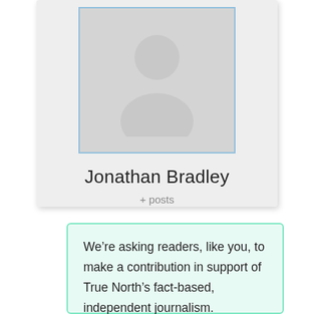[Figure (illustration): User profile card with a generic placeholder avatar icon (white silhouette on grey background, blue border), the name Jonathan Bradley, and a '+ posts' link below.]
Jonathan Bradley
+ posts
We’re asking readers, like you, to make a contribution in support of True North’s fact-based, independent journalism.